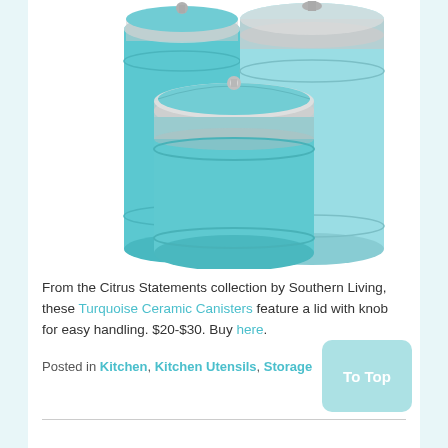[Figure (photo): Three turquoise ceramic canisters with silver/chrome lids and knobs, from the Citrus Statements collection by Southern Living. Canisters are different sizes arranged together.]
From the Citrus Statements collection by Southern Living, these Turquoise Ceramic Canisters feature a lid with knob for easy handling. $20-$30. Buy here.
Posted in Kitchen, Kitchen Utensils, Storage